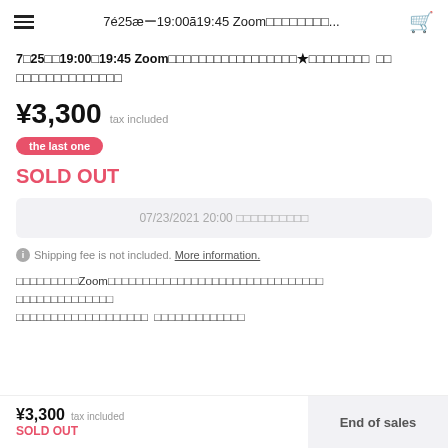7月25日19:00〜19:45 Zoom…
7月25日19:00〜19:45 Zoom〓〓〓〓〓〓〓〓〓〓〓〓〓〓★〓〓〓〓〓〓〓〓 〓〓 〓〓〓〓〓〓〓〓〓〓〓〓〓〓
¥3,300 tax included
the last one
SOLD OUT
07/23/2021 20:00 〓〓〓〓〓〓〓〓〓〓
Shipping fee is not included. More information.
〓〓〓〓〓〓〓〓〓Zoom〓〓〓〓〓〓〓〓〓〓〓〓〓〓〓〓〓〓〓〓〓〓〓〓〓〓〓〓〓〓〓〓〓〓〓〓 〓〓〓〓〓〓〓〓〓〓〓〓〓〓〓〓〓〓〓〓〓〓〓〓〓〓〓〓〓〓〓〓〓〓〓〓〓〓
¥3,300 tax included SOLD OUT
End of sales